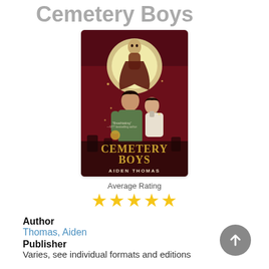Cemetery Boys
[Figure (illustration): Book cover of Cemetery Boys by Aiden Thomas. Dark red/maroon background with a large glowing moon. Three figures: a skeletal/ghostly figure at the top in a flowing robe, a young man in the center foreground, and another person behind him. Gold title text 'CEMETERY BOYS' and author name 'AIDEN THOMAS' at bottom.]
Average Rating
★★★★★
Author
Thomas, Aiden
Publisher
Varies, see individual formats and editions
Publication Date
2020.
Language
English